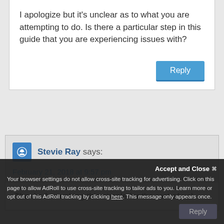I apologize but it's unclear as to what you are attempting to do. Is there a particular step in this guide that you are experiencing issues with?
Reply
Stevie Ray says:
February 21, 2018 at 9:57 pm
Thanks for making this simple for the rest of us!
Accept and Close
Your browser settings do not allow cross-site tracking for advertising. Click on this page to allow AdRoll to use cross-site tracking to tailor ads to you. Learn more or opt out of this AdRoll tracking by clicking here. This message only appears once.